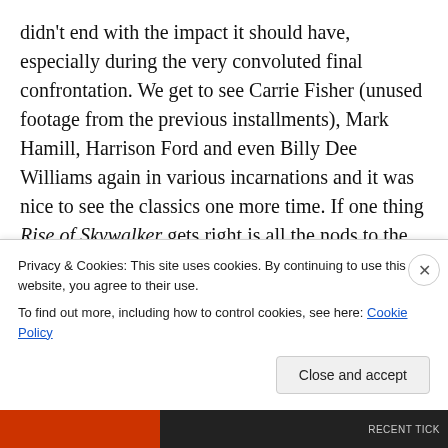didn't end with the impact it should have, especially during the very convoluted final confrontation. We get to see Carrie Fisher (unused footage from the previous installments), Mark Hamill, Harrison Ford and even Billy Dee Williams again in various incarnations and it was nice to see the classics one more time. If one thing Rise of Skywalker gets right is all the nods to the previous films. We even get some Ewoks. As for new characters, most go underdeveloped and were unnecessary at this point…spin-offs maybe?…but at least Kelly Marie Tran got some better dialogue as Rose and seemed more sturdy in a
Privacy & Cookies: This site uses cookies. By continuing to use this website, you agree to their use.
To find out more, including how to control cookies, see here: Cookie Policy